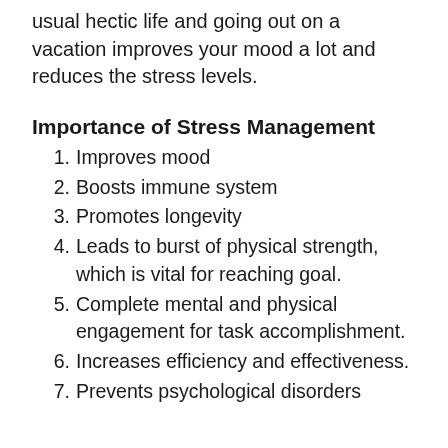usual hectic life and going out on a vacation improves your mood a lot and reduces the stress levels.
Importance of Stress Management
Improves mood
Boosts immune system
Promotes longevity
Leads to burst of physical strength, which is vital for reaching goal.
Complete mental and physical engagement for task accomplishment.
Increases efficiency and effectiveness.
Prevents psychological disorders